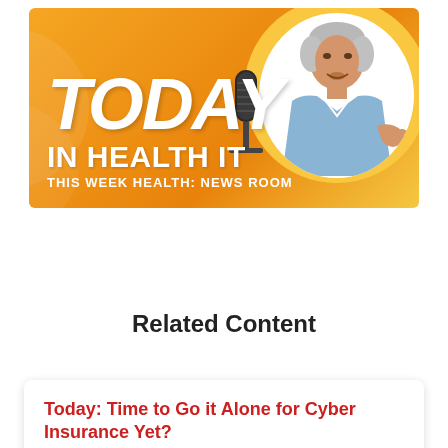[Figure (illustration): Today in Health IT podcast banner with orange gradient background, large white italic TODAY text, IN HEALTH IT subtitle, THIS WEEK HEALTH: NEWS ROOM tagline, and a circular photo of a man speaking at a microphone]
Related Content
Today: Time to Go it Alone for Cyber Insurance Yet?